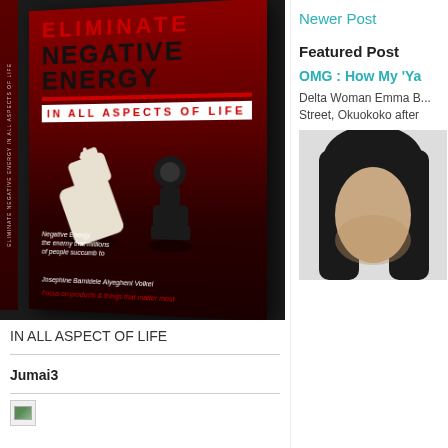[Figure (photo): Book cover of 'Eliminate Negative Energy In All Aspects of Life' by Josephine Bamidele Aiyegheni Volkei, featuring chess pieces (a fallen white king and standing black pawn) on a dark red background]
IN ALL ASPECT OF LIFE
Jumai3
[Figure (photo): Broken/missing image placeholder icon]
Newer Post
Featured Post
OMG : How My 'Ya
Delta Woman Emma B... Street, Okuokoko after
[Figure (photo): Portrait photo of a person with dark hair, partially visible, against a light background]